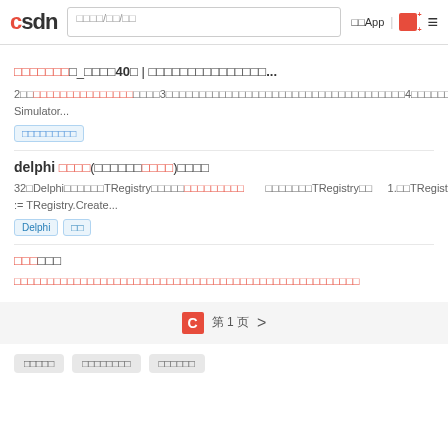CSDN | 搜索/社区/博客 | 下载App | [icon] | ≡
□□□□□□□_□□□□40□ | □□□□□□□□□□□□□□□...
2□□□□□□□□□□□□□□□□□□□□3□□□□□□□□□□□□□□□□□□□□□□□□□□□□□□□□□□□4□□□□□□□□□□□□□□□□□□□□□□□GX Simulator...
□□□□□□□□□
delphi □□□□(□□□□□□□□□□)□□□□
32□Delphi□□□□□□TRegistry□□□□□□□□□□□□□□       □□□□□□□TRegistry□□      1.□□TRegistry□□□□□□□□□□□□□□□TRegistry□□□ARegistry := TRegistry.Create...
Delphi  □
□□□□□□
□□□□□□□□□□□□□□□□□□□□□□□□□□□□□□□□□□□□□□□□□□□□□□□□□
C  第 1 页  >
□□□□□  □□□□□□□□  □□□□□□□